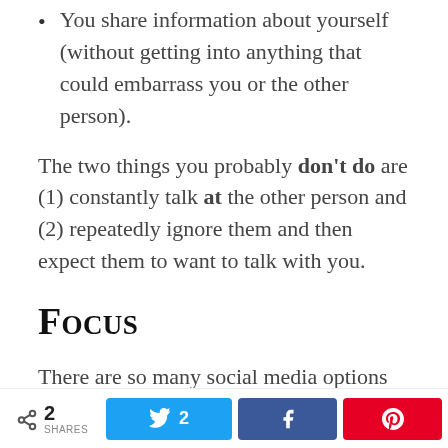You share information about yourself (without getting into anything that could embarrass you or the other person).
The two things you probably don't do are (1) constantly talk at the other person and (2) repeatedly ignore them and then expect them to want to talk with you.
Focus
There are so many social media options available today, and more appearing every day, that it's easy to get overwhelmed. When you're starting out, pick just one or two (for example, Facebook for interacting
< 2 SHARES  [Twitter: 2] [Facebook] [Pinterest]